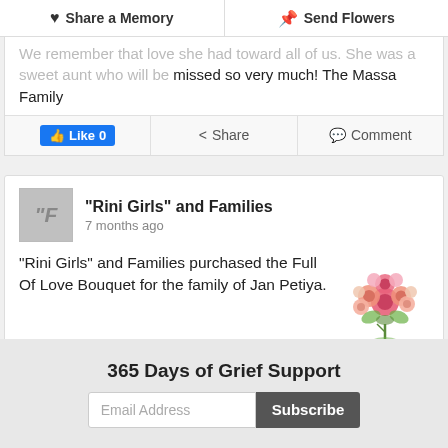Share a Memory | Send Flowers
missed so very much! The Massa Family
Like 0 | Share | Comment
"Rini Girls" and Families
7 months ago
"Rini Girls" and Families purchased the Full Of Love Bouquet for the family of Jan Petiya.
[Figure (photo): Pink flower bouquet arrangement]
More Memories...
365 Days of Grief Support
Email Address | Subscribe